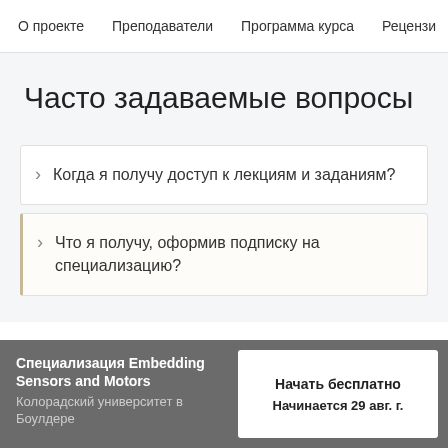О проекте   Преподаватели   Программа курса   Рецензи
Часто задаваемые вопросы
Когда я получу доступ к лекциям и заданиям?
Что я получу, оформив подписку на специализацию?
Специализация Embedding Sensors and Motors
Колорадский университет в Боулдере
Начать бесплатно
Начинается 29 авг. г.